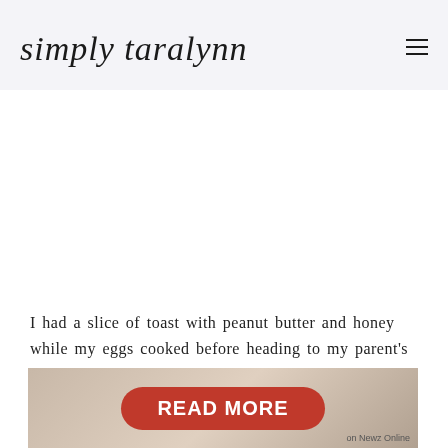simply taralynn
I had a slice of toast with peanut butter and honey while my eggs cooked before heading to my parent's house.
[Figure (other): Advertisement banner with a red 'READ MORE' button over a blurred background photo, labeled 'on Newz Online']